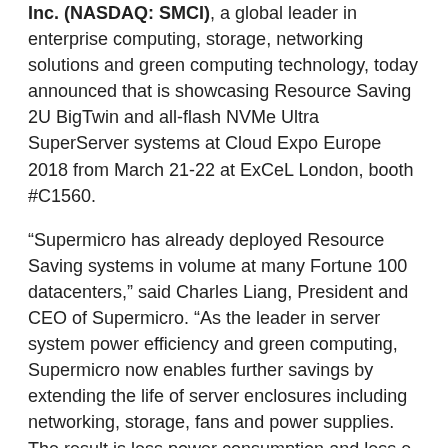Inc. (NASDAQ: SMCI), a global leader in enterprise computing, storage, networking solutions and green computing technology, today announced that is showcasing Resource Saving 2U BigTwin and all-flash NVMe Ultra SuperServer systems at Cloud Expo Europe 2018 from March 21-22 at ExCeL London, booth #C1560.
“Supermicro has already deployed Resource Saving systems in volume at many Fortune 100 datacenters,” said Charles Liang, President and CEO of Supermicro. “As the leader in server system power efficiency and green computing, Supermicro now enables further savings by extending the life of server enclosures including networking, storage, fans and power supplies. The result is less power consumption and less e-waste during technology refresh cycles, which saves costs and helps preserve our Mother Earth for future generations.”
Delivering the highest performance and efficiency of any 2U 4-node design, the Supermicro BigTwin™ system supports